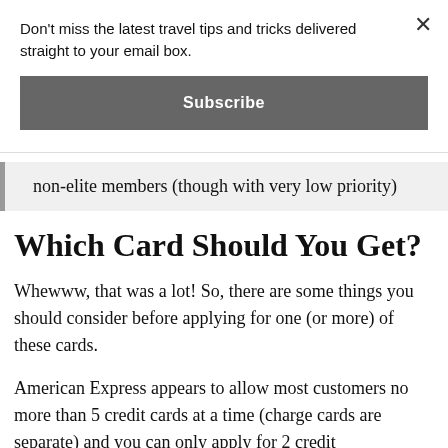Don't miss the latest travel tips and tricks delivered straight to your email box.
Subscribe
non-elite members (though with very low priority)
Which Card Should You Get?
Whewww, that was a lot! So, there are some things you should consider before applying for one (or more) of these cards.
American Express appears to allow most customers no more than 5 credit cards at a time (charge cards are separate) and you can only apply for 2 credit